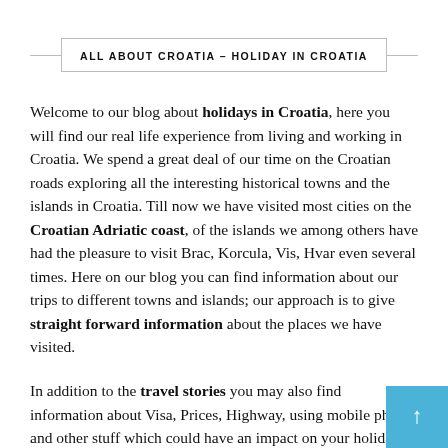ALL ABOUT CROATIA – HOLIDAY IN CROATIA
Welcome to our blog about holidays in Croatia, here you will find our real life experience from living and working in Croatia. We spend a great deal of our time on the Croatian roads exploring all the interesting historical towns and the islands in Croatia. Till now we have visited most cities on the Croatian Adriatic coast, of the islands we among others have had the pleasure to visit Brac, Korcula, Vis, Hvar even several times. Here on our blog you can find information about our trips to different towns and islands; our approach is to give straight forward information about the places we have visited.
In addition to the travel stories you may also find information about Visa, Prices, Highway, using mobile phone and other stuff which could have an impact on your holiday budget. If you wish to book a Hotel or a Private apartment in Croatia we of course also have a special section on our page with varic